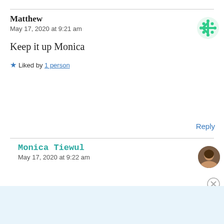Matthew
May 17, 2020 at 9:21 am
Keep it up Monica
★ Liked by 1 person
Reply
Monica Tiewul
May 17, 2020 at 9:22 am
[Figure (infographic): Tumblr Ad-Free Browsing advertisement banner: $39.99 a year or $4.99 a month]
Advertisements